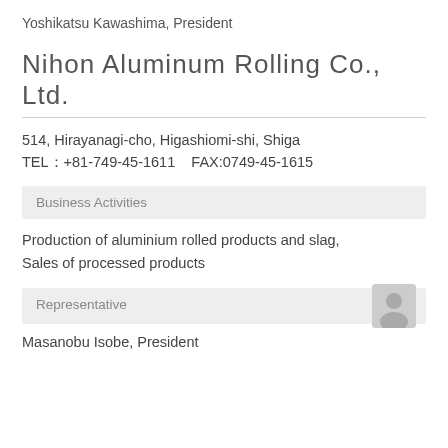Yoshikatsu Kawashima, President
Nihon Aluminum Rolling Co., Ltd.
514, Hirayanagi-cho, Higashiomi-shi, Shiga
TEL：+81-749-45-1611　FAX:0749-45-1615
Business Activities
Production of aluminium rolled products and slag, Sales of processed products
Representative
Masanobu Isobe, President